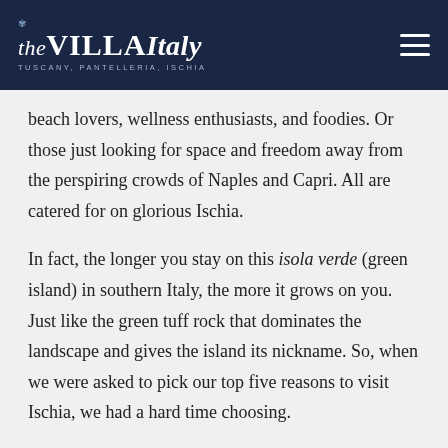the VILLA Italy — TUSCANY, PANTELLERIA, ISCHIA
beach lovers, wellness enthusiasts, and foodies. Or those just looking for space and freedom away from the perspiring crowds of Naples and Capri. All are catered for on glorious Ischia.
In fact, the longer you stay on this isola verde (green island) in southern Italy, the more it grows on you. Just like the green tuff rock that dominates the landscape and gives the island its nickname. So, when we were asked to pick our top five reasons to visit Ischia, we had a hard time choosing.